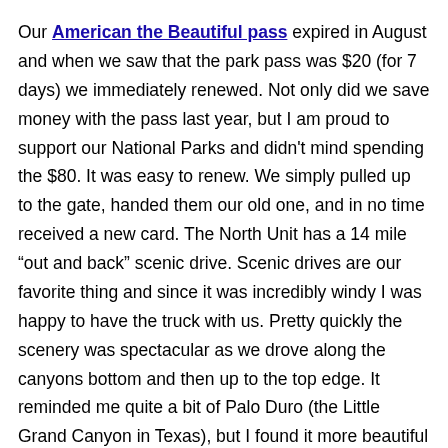Our American the Beautiful pass expired in August and when we saw that the park pass was $20 (for 7 days) we immediately renewed. Not only did we save money with the pass last year, but I am proud to support our National Parks and didn't mind spending the $80. It was easy to renew. We simply pulled up to the gate, handed them our old one, and in no time received a new card. The North Unit has a 14 mile “out and back” scenic drive. Scenic drives are our favorite thing and since it was incredibly windy I was happy to have the truck with us. Pretty quickly the scenery was spectacular as we drove along the canyons bottom and then up to the top edge. It reminded me quite a bit of Palo Duro (the Little Grand Canyon in Texas), but I found it more beautiful than even that.